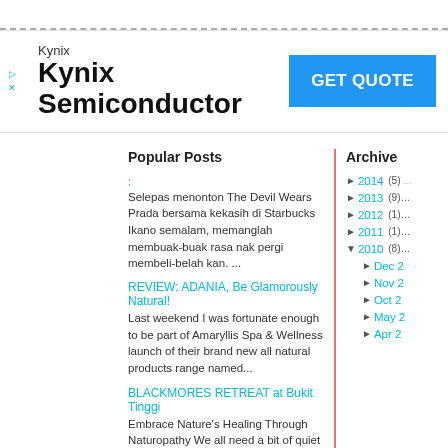[Figure (other): Dashed line separator at top of page]
[Figure (infographic): Kynix Semiconductor advertisement banner with GET QUOTE button]
Popular Posts
Selepas menonton The Devil Wears Prada bersama kekasih di Starbucks Ikano semalam, memanglah membuak-buak rasa nak pergi membeli-belah kan. ...
REVIEW: ADANIA, Be Glamorously Natural!
Last weekend I was fortunate enough to be part of Amaryllis Spa & Wellness launch of their brand new all natural products range named...
BLACKMORES RETREAT at Bukit Tinggi
Embrace Nature's Healing Through Naturopathy We all need a bit of quiet time now and again. Whether it is time for rejuvenation o...
Archive
► 2014 (5)
► 2013 (9)
► 2012 (1)
► 2011 (1)
▼ 2010 (8)
► Dec 2
► Nov 2
► Oct 2
► May 2
► Apr 2